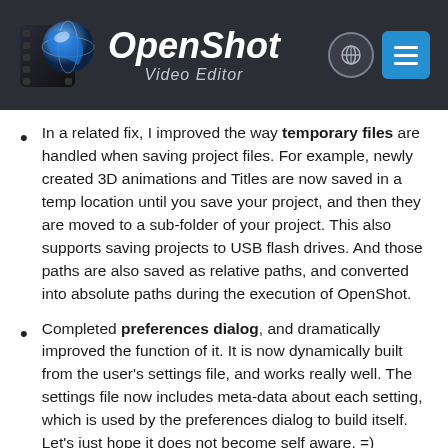[Figure (logo): OpenShot Video Editor logo with dark header bar, globe icon, and hamburger menu button]
In a related fix, I improved the way temporary files are handled when saving project files. For example, newly created 3D animations and Titles are now saved in a temp location until you save your project, and then they are moved to a sub-folder of your project. This also supports saving projects to USB flash drives. And those paths are also saved as relative paths, and converted into absolute paths during the execution of OpenShot.
Completed preferences dialog, and dramatically improved the function of it. It is now dynamically built from the user's settings file, and works really well. The settings file now includes meta-data about each setting, which is used by the preferences dialog to build itself. Let's just hope it does not become self aware. =)
Added a new profile button to the primary toolbar, which